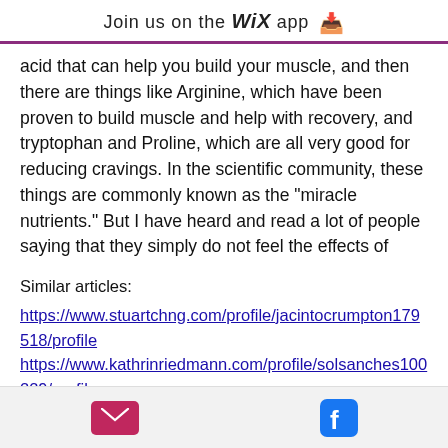Join us on the WiX app ↓
acid that can help you build your muscle, and then there are things like Arginine, which have been proven to build muscle and help with recovery, and tryptophan and Proline, which are all very good for reducing cravings. In the scientific community, these things are commonly known as the "miracle nutrients." But I have heard and read a lot of people saying that they simply do not feel the effects of
Similar articles:
https://www.stuartchng.com/profile/jacintocrumpton179518/profile
https://www.kathrinriedmann.com/profile/solsanches100229/profile
https://www.kayleighkmua.com/profile/cliffnichelson163485/profile